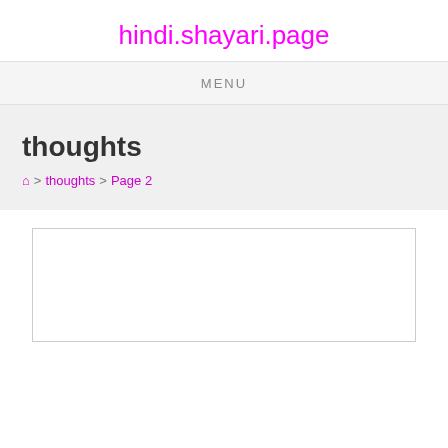hindi.shayari.page
MENU
thoughts
⌂ > thoughts > Page 2